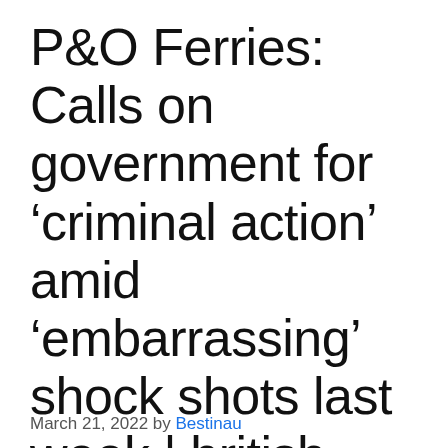P&O Ferries: Calls on government for ‘criminal action’ amid ‘embarrassing’ shock shots last week | british news
March 21, 2022 by Bestinau